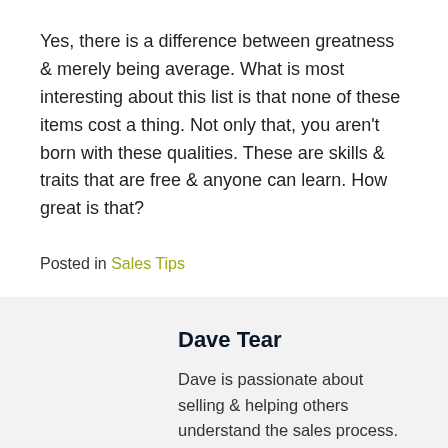Yes, there is a difference between greatness & merely being average. What is most interesting about this list is that none of these items cost a thing. Not only that, you aren't born with these qualities. These are skills & traits that are free & anyone can learn. How great is that?
Posted in Sales Tips
Dave Tear
Dave is passionate about selling & helping others understand the sales process. Whether a client company has a 5 person sales team or a 300 person National